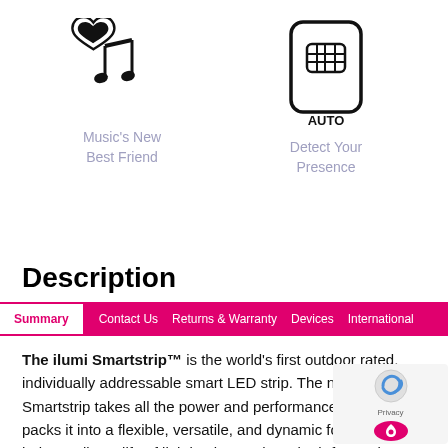[Figure (illustration): Music note icon with a heart — labeled Music's New Best Friend]
Music's New Best Friend
[Figure (illustration): Smartphone/card icon labeled AUTO — Detect Your Presence]
Detect Your Presence
Description
Summary   Contact Us   Returns & Warranty   Devices   International
The ilumi Smartstrip™ is the world's first outdoor rated, individually addressable smart LED strip. The new ilumi Smartstrip takes all the power and performance of ilumi and packs it into a flexible, versatile, and dynamic form factor to help you live a life of lighting luxury that's both fun and functional. Enhance your mood, transform your space with incredible atmospheres, and